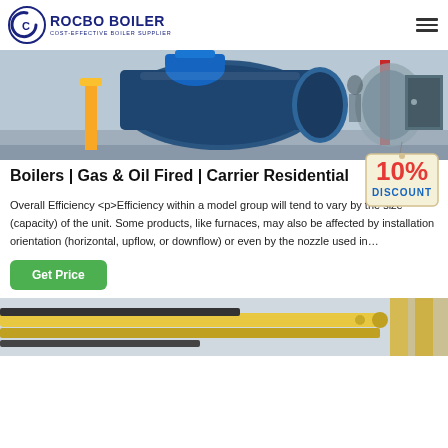[Figure (logo): Rocbo Boiler logo with crescent C icon and tagline COST-EFFECTIVE BOILER SUPPLIER]
[Figure (photo): Industrial boiler room with large blue boiler, yellow pipes, and machinery]
Boilers | Gas & Oil Fired | Carrier Residential
[Figure (infographic): 10% DISCOUNT badge/tag image]
Overall Efficiency <p>Efficiency within a model group will tend to vary by the size (capacity) of the unit. Some products, like furnaces, may also be affected by installation orientation (horizontal, upflow, or downflow) or even by the nozzle used in…
[Figure (photo): Industrial pipes and equipment, yellow piping visible at bottom of page]